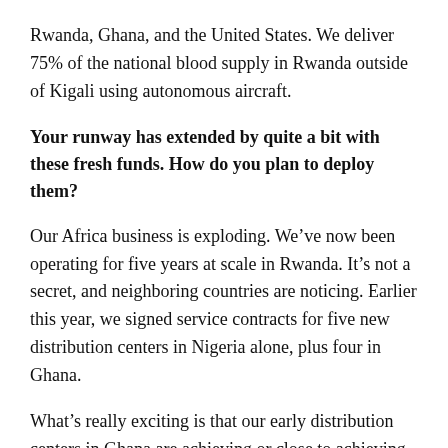Rwanda, Ghana, and the United States. We deliver 75% of the national blood supply in Rwanda outside of Kigali using autonomous aircraft.
Your runway has extended by quite a bit with these fresh funds. How do you plan to deploy them?
Our Africa business is exploding. We’ve now been operating for five years at scale in Rwanda. It’s not a secret, and neighboring countries are noticing. Earlier this year, we signed service contracts for five new distribution centers in Nigeria alone, plus four in Ghana.
What’s really exciting is that our early distribution centers in Ghana are achieving or close to achieving sustainability. In other words, they’re paying for all their own costs. For the people who think this is just for data-gathering for US